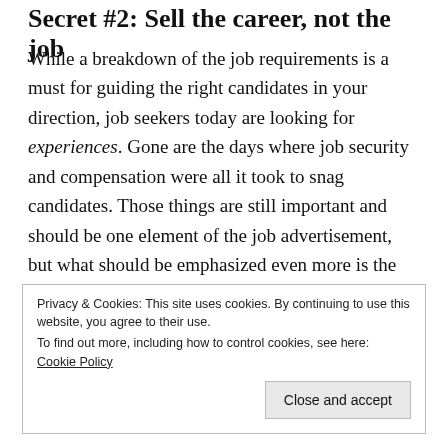Secret #2: Sell the career, not the job
While a breakdown of the job requirements is a must for guiding the right candidates in your direction, job seekers today are looking for experiences. Gone are the days where job security and compensation were all it took to snag candidates. Those things are still important and should be one element of the job advertisement, but what should be emphasized even more is the potential for career development, advancement and the chance to work on a collaborative, supportive team. A successful job ad should also fulfill these three requirements:
Privacy & Cookies: This site uses cookies. By continuing to use this website, you agree to their use.
To find out more, including how to control cookies, see here: Cookie Policy